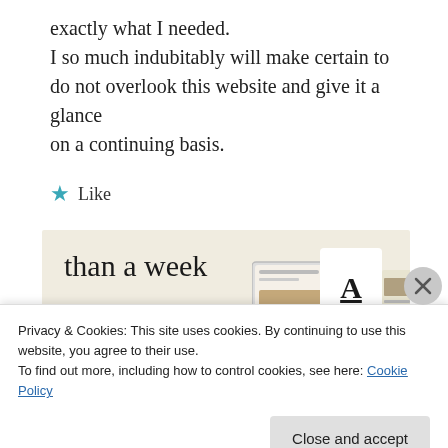exactly what I needed. I so much indubitably will make certain to do not overlook this website and give it a glance on a continuing basis.
★ Like
[Figure (illustration): Advertisement banner with beige background showing 'than a week' text, a green 'Explore options' button, and mockup screens of a website/app on the right side.]
Privacy & Cookies: This site uses cookies. By continuing to use this website, you agree to their use. To find out more, including how to control cookies, see here: Cookie Policy
Close and accept